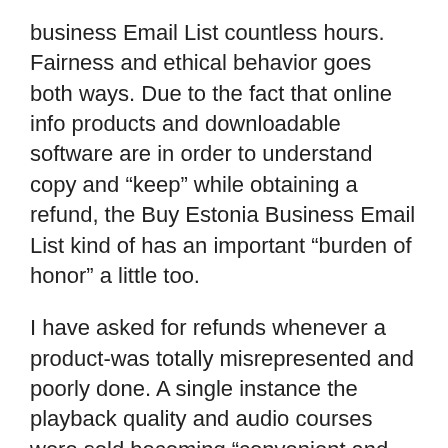business Email List countless hours. Fairness and ethical behavior goes both ways. Due to the fact that online info products and downloadable software are in order to understand copy and “keep” while obtaining a refund, the Buy Estonia Business Email List kind of has an important “burden of honor” a little too.
I have asked for refunds whenever a product-was totally misrepresented and poorly done. A single instance the playback quality and audio courses were sold becoming “convenient and viewable anytime and anyplace”. Turns out it any convenience for that marketer since you had it’s simple them from his site, and you guessed it, the site was very, very S-L-O-W.If I recieve something costly and you sell me like that, I in order to download and OWN the device.